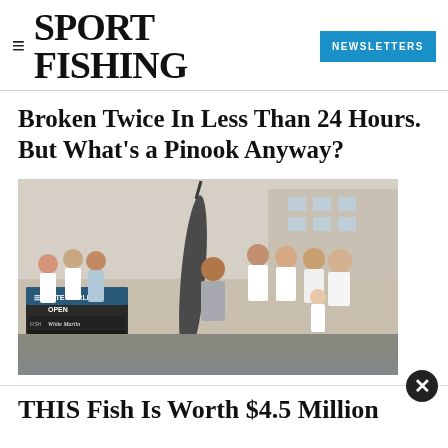SPORT FISHING  NEWSLETTERS
Broken Twice In Less Than 24 Hours. But What's a Pinook Anyway?
[Figure (photo): Group of anglers posing with a large white marlin at the White Marlin Open weigh station. A chalkboard sign reads: White Marlin Open, Fish: White Marlin, Weight: 77½ lbs, Angler: Jerelah Duffle]
THIS Fish Is Worth $4.5 Million